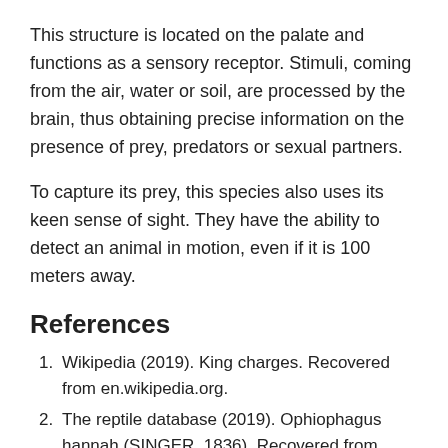This structure is located on the palate and functions as a sensory receptor. Stimuli, coming from the air, water or soil, are processed by the brain, thus obtaining precise information on the presence of prey, predators or sexual partners.
To capture its prey, this species also uses its keen sense of sight. They have the ability to detect an animal in motion, even if it is 100 meters away.
References
Wikipedia (2019). King charges. Recovered from en.wikipedia.org.
The reptile database (2019). Ophiophagus hannah (SINGER, 1836). Recovered from reptile-database.reptarium.cz.
Young, D. (1999). Ophiophagus Hannah. Animal